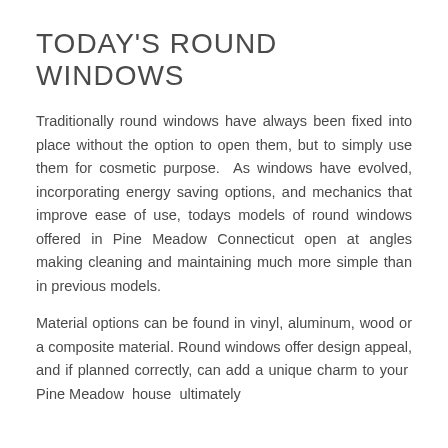TODAY'S ROUND WINDOWS
Traditionally round windows have always been fixed into place without the option to open them, but to simply use them for cosmetic purpose. As windows have evolved, incorporating energy saving options, and mechanics that improve ease of use, todays models of round windows offered in Pine Meadow Connecticut open at angles making cleaning and maintaining much more simple than in previous models.
Material options can be found in vinyl, aluminum, wood or a composite material. Round windows offer design appeal, and if planned correctly, can add a unique charm to your Pine Meadow house ultimately